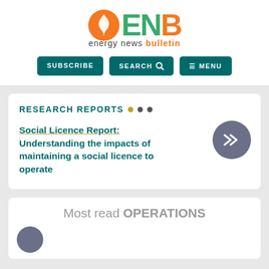[Figure (logo): ENB Energy News Bulletin logo with orange flame icon and teal/orange text]
SUBSCRIBE  SEARCH  MENU
RESEARCH REPORTS
Social Licence Report: Understanding the impacts of maintaining a social licence to operate
Most read OPERATIONS